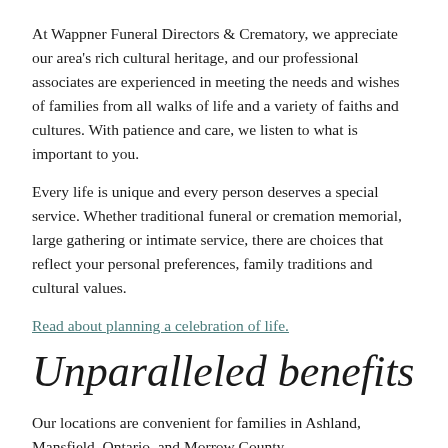At Wappner Funeral Directors & Crematory, we appreciate our area's rich cultural heritage, and our professional associates are experienced in meeting the needs and wishes of families from all walks of life and a variety of faiths and cultures. With patience and care, we listen to what is important to you.
Every life is unique and every person deserves a special service. Whether traditional funeral or cremation memorial, large gathering or intimate service, there are choices that reflect your personal preferences, family traditions and cultural values.
Read about planning a celebration of life.
Unparalleled benefits
Our locations are convenient for families in Ashland, Mansfield, Ontario, and Morrow County...